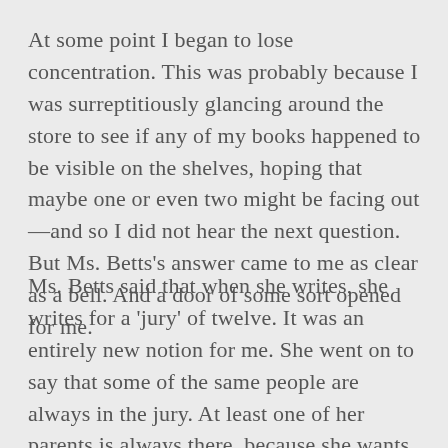At some point I began to lose concentration. This was probably because I was surreptitiously glancing around the store to see if any of my books happened to be visible on the shelves, hoping that maybe one or even two might be facing out—and so I did not hear the next question. But Ms. Betts's answer came to me as clear as a bell. And a door of some sort opened for me.
Ms. Betts said that when she writes, she writes for a 'jury' of twelve. It was an entirely new notion for me. She went on to say that some of the same people are always in the jury. At least one of her parents is always there, because she wants to please them. Permanent seats are marked for an old friend or